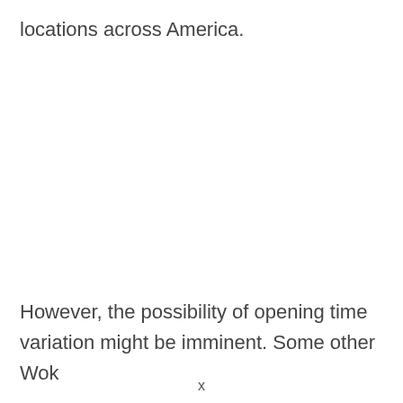locations across America.
However, the possibility of opening time variation might be imminent. Some other Wok
x